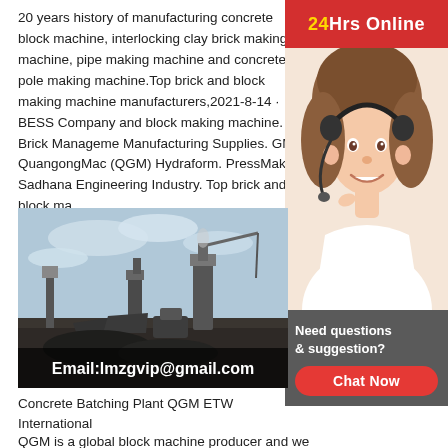20 years history of manufacturing concrete block machine, interlocking clay brick making machine, pipe making machine and concrete pole making machine.Top brick and block making machine manufacturers,2021-8-14 · BESS Company and block making machine. Brick Management Manufacturing Supplies. GM QuangongMac (QGM) Hydraform. PressMakina. Sadhana Engineering Industry. Top brick and block ma
[Figure (infographic): 24Hrs Online advertisement banner with a woman wearing a headset, red bar at top, grey box at bottom with 'Need questions & suggestion?' and a Chat Now button]
[Figure (photo): Concrete batching plant / industrial machinery site, dark sky, heavy equipment silhouettes, with email overlay text: Email:lmzgvip@gmail.com]
Concrete Batching Plant QGM ETW International
QGM is a global block machine producer and we have